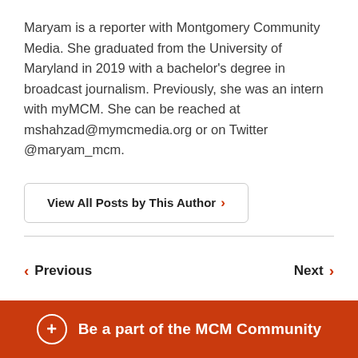Maryam is a reporter with Montgomery Community Media. She graduated from the University of Maryland in 2019 with a bachelor's degree in broadcast journalism. Previously, she was an intern with myMCM. She can be reached at mshahzad@mymcmedia.org or on Twitter @maryam_mcm.
View All Posts by This Author >
< Previous
Next >
Be a part of the MCM Community